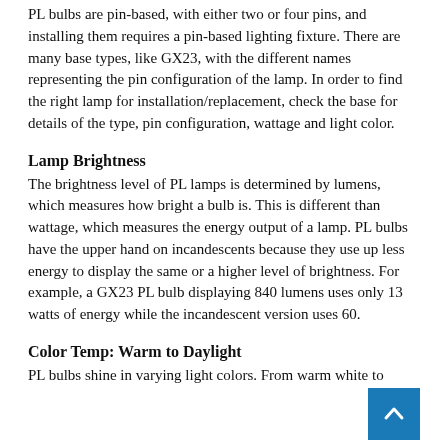PL bulbs are pin-based, with either two or four pins, and installing them requires a pin-based lighting fixture. There are many base types, like GX23, with the different names representing the pin configuration of the lamp. In order to find the right lamp for installation/replacement, check the base for details of the type, pin configuration, wattage and light color.
Lamp Brightness
The brightness level of PL lamps is determined by lumens, which measures how bright a bulb is. This is different than wattage, which measures the energy output of a lamp. PL bulbs have the upper hand on incandescents because they use up less energy to display the same or a higher level of brightness. For example, a GX23 PL bulb displaying 840 lumens uses only 13 watts of energy while the incandescent version uses 60.
Color Temp: Warm to Daylight
PL bulbs shine in varying light colors. From warm white to